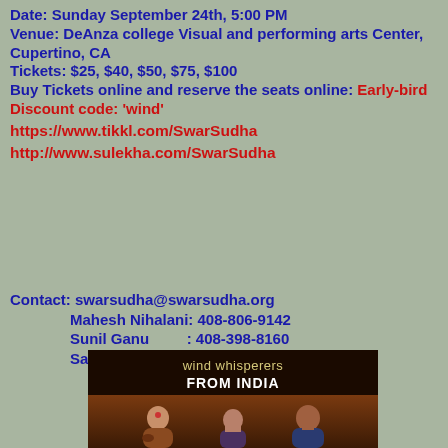Date: Sunday September 24th, 5:00 PM
Venue: DeAnza college Visual and performing arts Center, Cupertino, CA
Tickets: $25, $40, $50, $75, $100
Buy Tickets online and reserve the seats online: Early-bird Discount code: 'wind'
https://www.tikkl.com/SwarSudha
http://www.sulekha.com/SwarSudha
Contact: swarsudha@swarsudha.org
Mahesh Nihalani: 408-806-9142
Sunil Ganu         : 408-398-8160
Sanjana Anand    : 650-255-9752
[Figure (photo): Photo of performers labeled 'wind whisperers FROM INDIA' showing three Indian musicians on a dark/brown background]